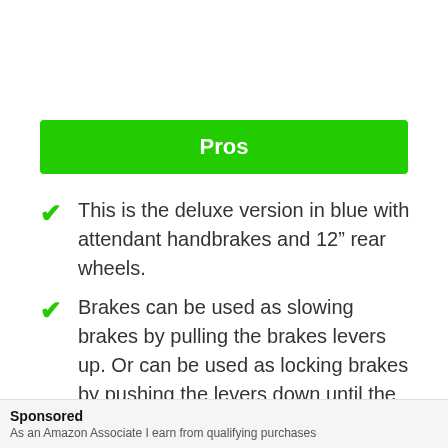Pros
This is the deluxe version in blue with attendant handbrakes and 12” rear wheels.
Brakes can be used as slowing brakes by pulling the brakes levers up. Or can be used as locking brakes by pushing the levers down until the lock into place.
Sponsored
As an Amazon Associate I earn from qualifying purchases